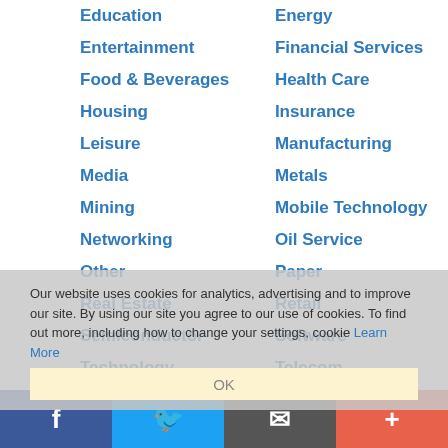Education
Energy
Entertainment
Financial Services
Food & Beverages
Health Care
Housing
Insurance
Leisure
Manufacturing
Media
Metals
Mining
Mobile Technology
Networking
Oil Service
Other
Paper
Real Estate
Retail
Semiconductor
Software
Technology
Telecom
Our website uses cookies for analytics, advertising and to improve our site. By using our site you agree to our use of cookies. To find out more, including how to change your settings, cookie Learn More
OK